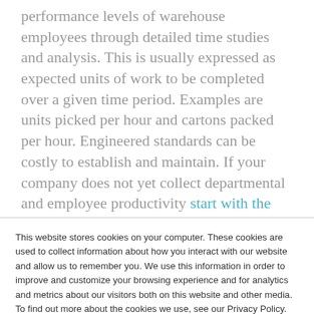performance levels of warehouse employees through detailed time studies and analysis. This is usually expressed as expected units of work to be completed over a given time period. Examples are units picked per hour and cartons packed per hour. Engineered standards can be costly to establish and maintain. If your company does not yet collect departmental and employee productivity start with the productivity workbook previously discussed. Keep the initial systems simple and straight forward. Then graduate to more complex
This website stores cookies on your computer. These cookies are used to collect information about how you interact with our website and allow us to remember you. We use this information in order to improve and customize your browsing experience and for analytics and metrics about our visitors both on this website and other media. To find out more about the cookies we use, see our Privacy Policy.